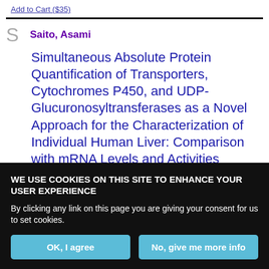Add to Cart ($35)
Saito, Asami
Simultaneous Absolute Protein Quantification of Transporters, Cytochromes P450, and UDP-Glucuronosyltransferases as a Novel Approach for the Characterization of Individual Human Liver: Comparison with mRNA Levels and Activities
WE USE COOKIES ON THIS SITE TO ENHANCE YOUR USER EXPERIENCE
By clicking any link on this page you are giving your consent for us to set cookies.
OK, I agree
No, give me more info